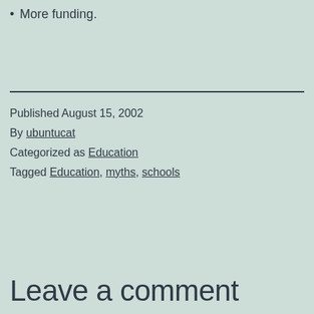More funding.
Published August 15, 2002
By ubuntucat
Categorized as Education
Tagged Education, myths, schools
Leave a comment